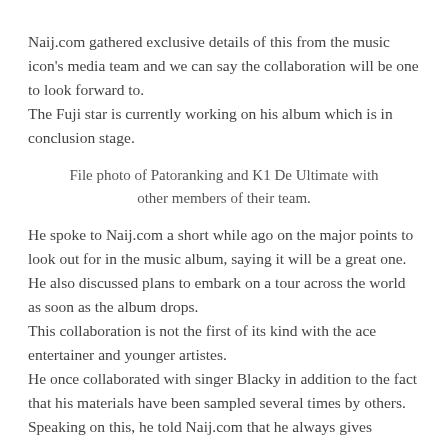Naij.com gathered exclusive details of this from the music icon's media team and we can say the collaboration will be one to look forward to.
The Fuji star is currently working on his album which is in conclusion stage.
File photo of Patoranking and K1 De Ultimate with other members of their team.
He spoke to Naij.com a short while ago on the major points to look out for in the music album, saying it will be a great one.
He also discussed plans to embark on a tour across the world as soon as the album drops.
This collaboration is not the first of its kind with the ace entertainer and younger artistes.
He once collaborated with singer Blacky in addition to the fact that his materials have been sampled several times by others.
Speaking on this, he told Naij.com that he always gives